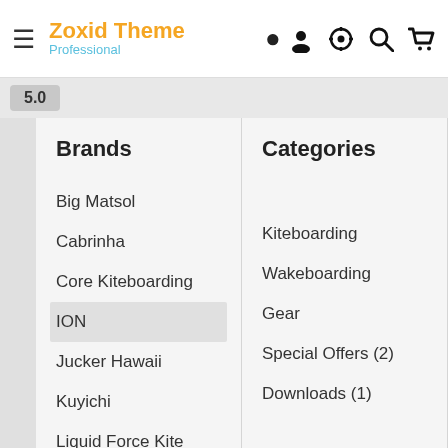Zoxid Theme Professional
Brands
Big Matsol
Cabrinha
Core Kiteboarding
ION
Jucker Hawaii
Kuyichi
Liquid Force Kite
Mauirippers
Categories
Kiteboarding
Wakeboarding
Gear
Special Offers (2)
Downloads (1)